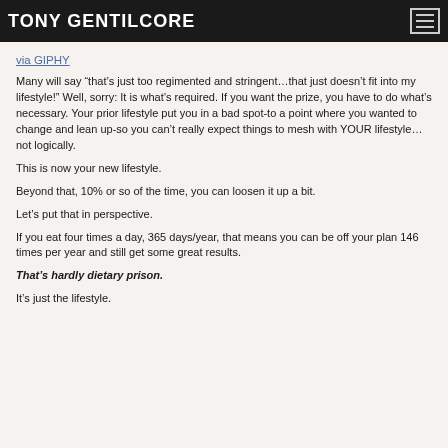TONY GENTILCORE
via GIPHY
Many will say “that’s just too regimented and stringent…that just doesn’t fit into my lifestyle!” Well, sorry: It is what’s required. If you want the prize, you have to do what’s necessary. Your prior lifestyle put you in a bad spot-to a point where you wanted to change and lean up-so you can’t really expect things to mesh with YOUR lifestyle…not logically.
This is now your new lifestyle.
Beyond that, 10% or so of the time, you can loosen it up a bit.
Let’s put that in perspective.
If you eat four times a day, 365 days/year, that means you can be off your plan 146 times per year and still get some great results.
That’s hardly dietary prison.
It’s just the lifestyle.